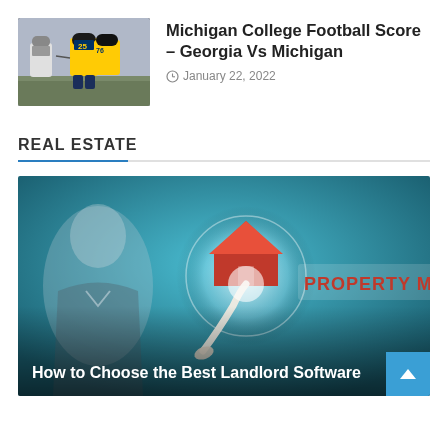[Figure (photo): Michigan college football players on field, player wearing yellow #25 jersey]
Michigan College Football Score – Georgia Vs Michigan
January 22, 2022
REAL ESTATE
[Figure (photo): Man in suit pointing finger at a glowing home icon button with text 'PROPERTY MA...' — real estate property management concept image]
How to Choose the Best Landlord Software